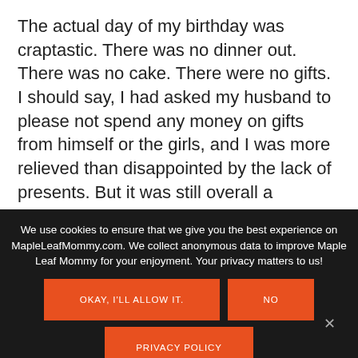The actual day of my birthday was craptastic. There was no dinner out. There was no cake. There were no gifts. I should say, I had asked my husband to please not spend any money on gifts from himself or the girls, and I was more relieved than disappointed by the lack of presents. But it was still overall a depressing sort of day.
We use cookies to ensure that we give you the best experience on MapleLeafMommy.com. We collect anonymous data to improve Maple Leaf Mommy for your enjoyment. Your privacy matters to us!
OKAY, I'LL ALLOW IT.
NO
PRIVACY POLICY